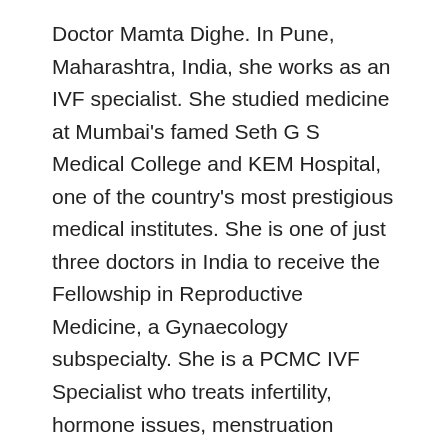Doctor Mamta Dighe. In Pune, Maharashtra, India, she works as an IVF specialist. She studied medicine at Mumbai's famed Seth G S Medical College and KEM Hospital, one of the country's most prestigious medical institutes. She is one of just three doctors in India to receive the Fellowship in Reproductive Medicine, a Gynaecology subspecialty. She is a PCMC IVF Specialist who treats infertility, hormone issues, menstruation issues, and a variety of other issues in teenage, reproductive, and menopausal women.
Dr. Mamta Dighe has more than 20 years of experience (Assisted Reproductive Technology). She began her ART career in Bangalore in 1999 with Padmshree Dr. Kamini Rao, where she worked for six years before moving to Pune to work at the famed Deenanath Mangeshkar Hospital. She founded their IVF center during her stint there and served as the director of the Deenanath...